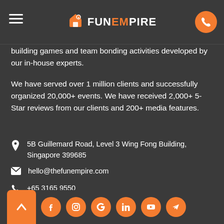FunEmpire
building games and team bonding activities developed by our in-house experts.
We have served over 1 million clients and successfully organized 20,000+ events. We have received 2,000+ 5-Star reviews from our clients and 200+ media features.
5B Guillemard Road, Level 3 Wing Fong Building, Singapore 399685
hello@thefunempire.com
+65 3165 9550
+65 6515 4146
+65 9792 9179